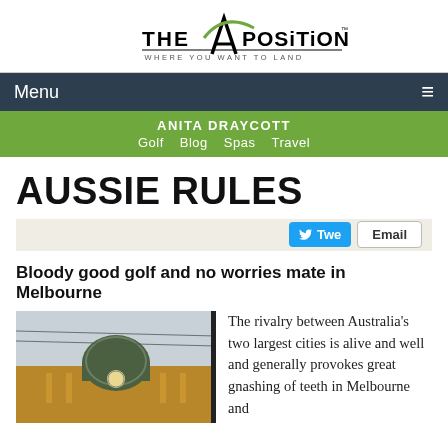[Figure (logo): The A Position logo with arch graphic and tagline WHERE YOU WANT TO LAND]
Menu ≡
ANITA DRAYCOTT  Golf  Blog  Spas  Travel
AUSSIE RULES
[Figure (other): Share bar with Tweet and Email buttons]
Bloody good golf and no worries mate in Melbourne
[Figure (photo): Photograph of Flinders Street Station dome in Melbourne]
The rivalry between Australia's two largest cities is alive and well and generally provokes great gnashing of teeth in Melbourne and